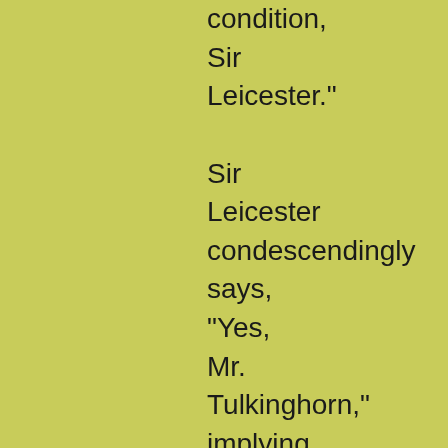condition, Sir Leicester." Sir Leicester condescendingly says, "Yes, Mr. Tulkinghorn," implying that then she must have appeared of very